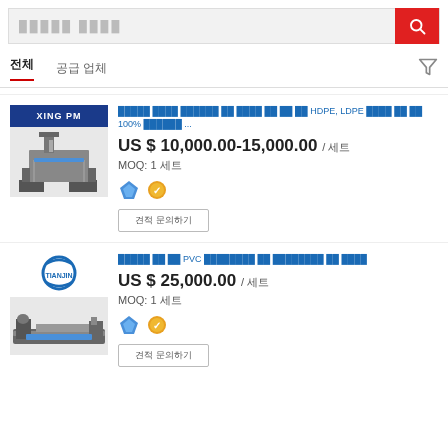검색창 (search bar with Korean placeholder text)
전체  공급 업체
[Figure (screenshot): Product listing 1: HDPE LDPE film blowing machine. Price: US $ 10,000.00-15,000.00 / 세트. MOQ: 1 세트. Badges: diamond supplier, verified.]
견적 문의하기 (button)
[Figure (screenshot): Product listing 2: PVC pipe extrusion machine. Price: US $ 25,000.00 / 세트. MOQ: 1 세트. Badges: diamond supplier, verified.]